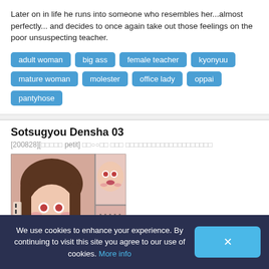Later on in life he runs into someone who resembles her...almost perfectly... and decides to once again take out those feelings on the poor unsuspecting teacher.
adult woman
big ass
female teacher
kyonyuu
mature woman
molester
office lady
oppai
pantyhose
Sotsugyou Densha 03
[200828][□□□□□ petit] □□○○□□ □□□ □□□□□□□□□□□□□□□□□□□□
[Figure (illustration): Manga/anime style illustration thumbnail showing female character with brown hair, flushed face, multiple panel comic page]
We use cookies to enhance your experience. By continuing to visit this site you agree to our use of cookies. More info